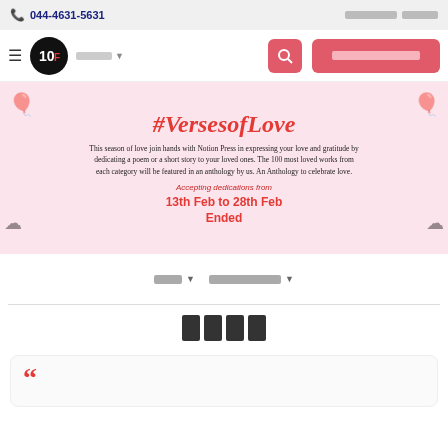044-4631-5631
[Figure (logo): 10F circular logo in black and red]
[Figure (screenshot): Website banner for #VersesofLove campaign]
#VersesofLove
This season of love join hands with Notion Press in expressing your love and gratitude by dedicating a poem or a short story to your loved ones. The 100 most loved works from each category will be featured in an anthology by us. An Anthology to celebrate love.
Accepting dedications from
13th Feb to 28th Feb
Ended
Ended